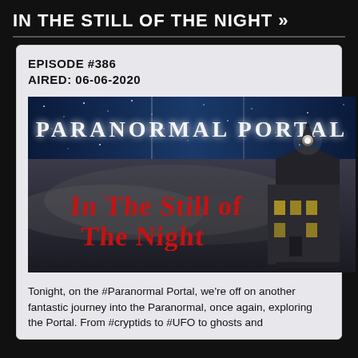IN THE STILL OF THE NIGHT >>
EPISODE #386
AIRED: 06-06-2020
[Figure (illustration): Paranormal Portal podcast banner showing 'In The Still Of The Night' title with a haunted house and foggy background, and 'PARANORMAL PORTAL' text on a starry night blue banner at top.]
Tonight, on the #Paranormal Portal, we're off on another fantastic journey into the Paranormal, once again, exploring the Portal. From #cryptids to #UFO to ghosts and